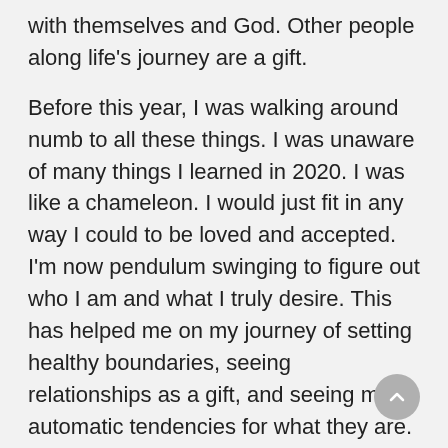with themselves and God. Other people along life's journey are a gift.

Before this year, I was walking around numb to all these things. I was unaware of many things I learned in 2020. I was like a chameleon. I would just fit in any way I could to be loved and accepted. I'm now pendulum swinging to figure out who I am and what I truly desire. This has helped me on my journey of setting healthy boundaries, seeing relationships as a gift, and seeing my automatic tendencies for what they are. I'm learning and figuring myself out. Anyone who doesn't get that or respect it or want to understand... Well, we're all on a journey. Our own journey.